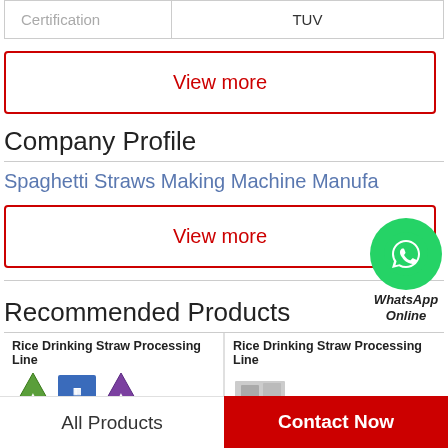| Certification | TUV |
| --- | --- |
| Certification | TUV |
View more
Company Profile
Spaghetti Straws Making Machine Manufa
[Figure (logo): WhatsApp Online green circle icon with phone handset, with text 'WhatsApp Online' below]
View more
Recommended Products
Rice Drinking Straw Processing Line
Rice Drinking Straw Processing Line
All Products
Contact Now